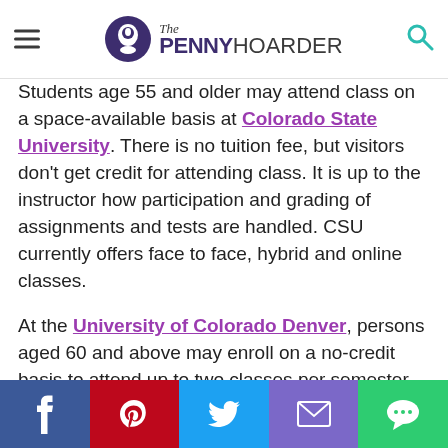The Penny Hoarder
Students age 55 and older may attend class on a space-available basis at Colorado State University. There is no tuition fee, but visitors don't get credit for attending class. It is up to the instructor how participation and grading of assignments and tests are handled. CSU currently offers face to face, hybrid and online classes.
At the University of Colorado Denver, persons aged 60 and above may enroll on a no-credit basis to attend up to two classes per semester as auditors when space is available. (Courses with a lab component are excluded, as are computer courses and online courses.)
7. Connecticut
[Figure (infographic): Social share bar with Facebook, Pinterest, Twitter, Email, and Chat buttons]